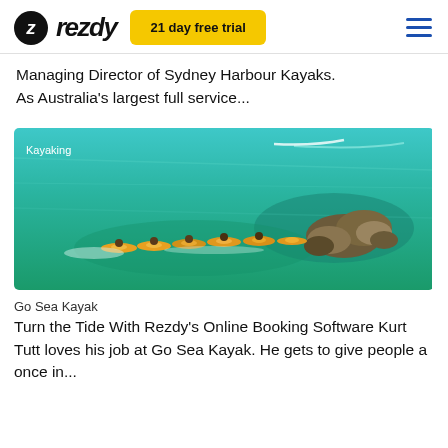rezdy | 21 day free trial
Managing Director of Sydney Harbour Kayaks. As Australia's largest full service...
[Figure (photo): Aerial view of a group of kayakers paddling near rocky outcrops on turquoise green ocean water. Label 'Kayaking' in top-left corner.]
Go Sea Kayak
Turn the Tide With Rezdy's Online Booking Software Kurt Tutt loves his job at Go Sea Kayak. He gets to give people a once in...